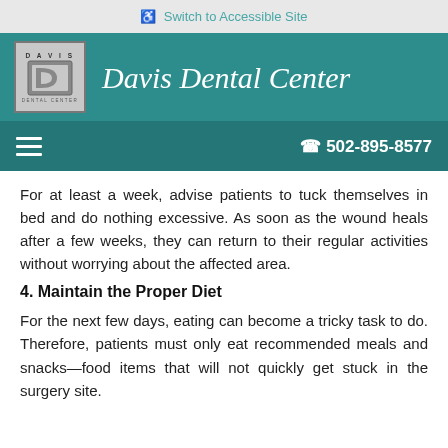♿ Switch to Accessible Site
[Figure (logo): Davis Dental Center logo with stylized D letter mark and cursive brand name on teal background]
☎ 502-895-8577
For at least a week, advise patients to tuck themselves in bed and do nothing excessive. As soon as the wound heals after a few weeks, they can return to their regular activities without worrying about the affected area.
4. Maintain the Proper Diet
For the next few days, eating can become a tricky task to do. Therefore, patients must only eat recommended meals and snacks—food items that will not quickly get stuck in the surgery site.